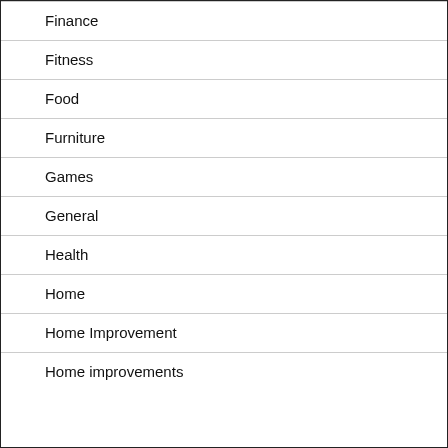Finance
Fitness
Food
Furniture
Games
General
Health
Home
Home Improvement
Home improvements